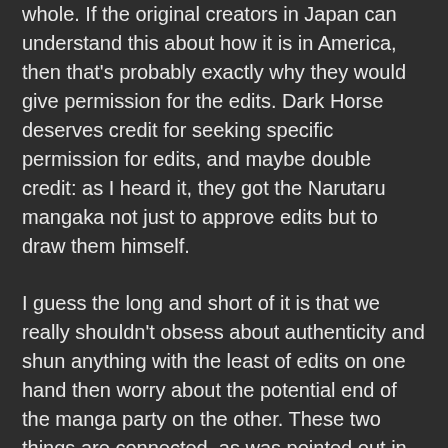whole. If the original creators in Japan can understand this about how it is in America, then that's probably exactly why they would give permission for the edits. Dark Horse deserves credit for seeking specific permission for edits, and maybe double credit: as I heard it, they got the Narutaru mangaka not just to approve edits but to draw them himself.
I guess the long and short of it is that we really shouldn't obsess about authenticity and shun anything with the least of edits on one hand then worry about the potential end of the manga party on the other. These two things are connected, as was pointed out in the linked Dark Horse Exaxxion thread that mentions such fun activities as being booked and going to prison. And so, near and dear as Narutaru is to my heart, it may be for the best that it probably won't be finishing up over here, at least not in the